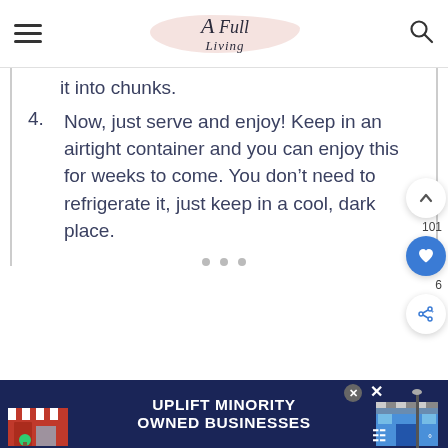A Full Living
it into chunks.
4. Now, just serve and enjoy! Keep in an airtight container and you can enjoy this for weeks to come. You don’t need to refrigerate it, just keep in a cool, dark place.
[Figure (screenshot): Advertisement banner: UPLIFT MINORITY OWNED BUSINESSES on dark blue background with store illustrations]